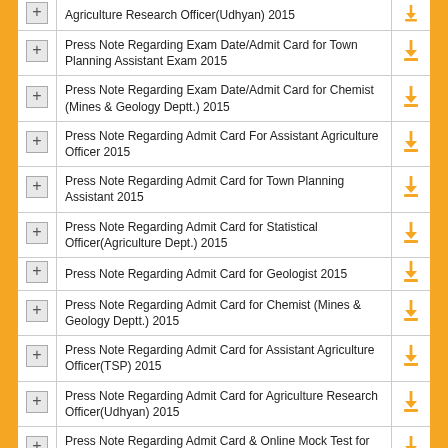|  | Description | Download |
| --- | --- | --- |
| [+] | Agriculture Research Officer(Udhyan) 2015 | [download] |
| [+] | Press Note Regarding Exam Date/Admit Card for Town Planning Assistant Exam 2015 | [download] |
| [+] | Press Note Regarding Exam Date/Admit Card for Chemist (Mines & Geology Deptt.) 2015 | [download] |
| [+] | Press Note Regarding Admit Card For Assistant Agriculture Officer 2015 | [download] |
| [+] | Press Note Regarding Admit Card for Town Planning Assistant 2015 | [download] |
| [+] | Press Note Regarding Admit Card for Statistical Officer(Agriculture Dept.) 2015 | [download] |
| [+] | Press Note Regarding Admit Card for Geologist 2015 | [download] |
| [+] | Press Note Regarding Admit Card for Chemist (Mines & Geology Deptt.) 2015 | [download] |
| [+] | Press Note Regarding Admit Card for Assistant Agriculture Officer(TSP) 2015 | [download] |
| [+] | Press Note Regarding Admit Card for Agriculture Research Officer(Udhyan) 2015 | [download] |
| [+] | Press Note Regarding Admit Card & Online Mock Test for Sr. Teacher Gr II(Special Education) Exam 2015 | [download] |